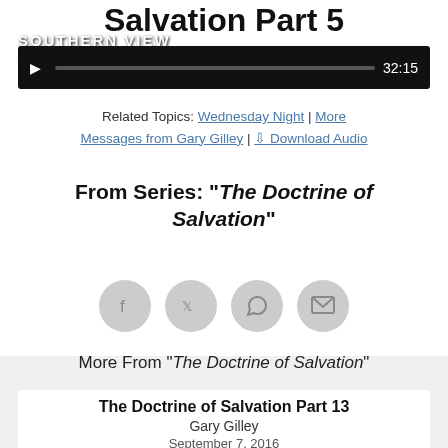Salvation Part 5
SOUTHERN VIEW CHAPEL
[Figure (screenshot): Audio player bar showing play button, progress bar, and time 32:15]
Related Topics: Wednesday Night | More Messages from Gary Gilley | Download Audio
From Series: "The Doctrine of Salvation"
[Figure (infographic): Four social sharing icon circles: Facebook, Twitter, Share, Email]
More From "The Doctrine of Salvation"
The Doctrine of Salvation Part 13
Gary Gilley
September 7, 2016
Listen